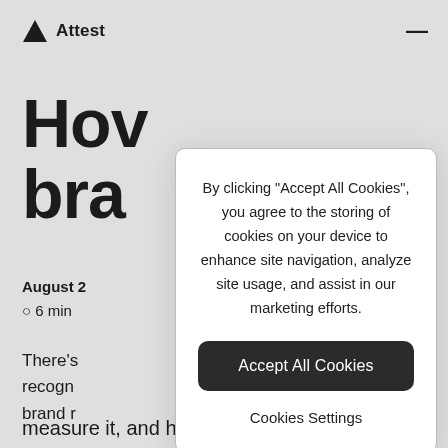Attest
How bra
August 2
⊙ 6 min
There's recogn brand r measure it, and how to get results quickly.
By clicking “Accept All Cookies”, you agree to the storing of cookies on your device to enhance site navigation, analyze site usage, and assist in our marketing efforts.
Accept All Cookies
Cookies Settings